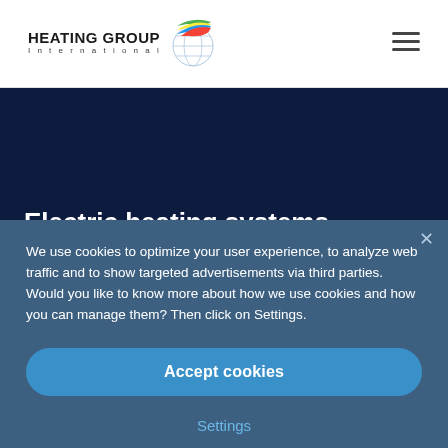[Figure (logo): Heating Group International logo with globe/ribbon icon and text]
Electric heating systems
We use cookies to optimize your user experience, to analyze web traffic and to show targeted advertisements via third parties. Would you like to know more about how we use cookies and how you can manage them? Then click on Settings.
Accept cookies
Settings